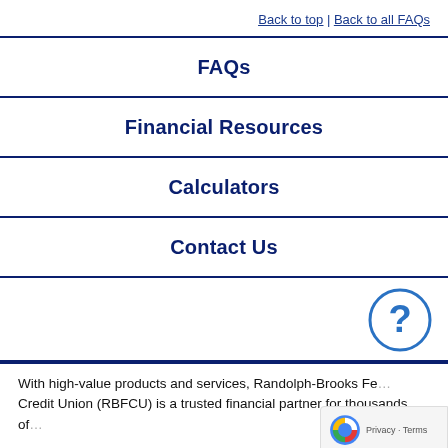Back to top | Back to all FAQs
FAQs
Financial Resources
Calculators
Contact Us
[Figure (illustration): Blue circle with a question mark icon (help button)]
With high-value products and services, Randolph-Brooks Fe... Credit Union (RBFCU) is a trusted financial partner for thousands of...